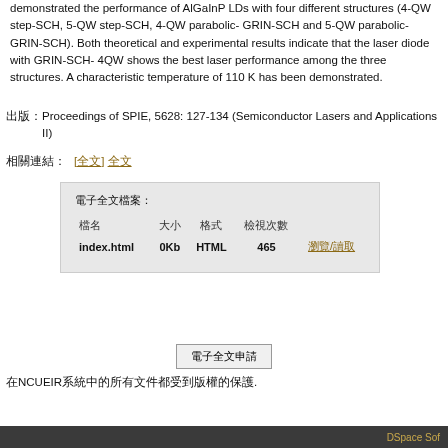demonstrated the performance of AlGaInP LDs with four different structures (4-QW step-SCH, 5-QW step-SCH, 4-QW parabolic-GRIN-SCH and 5-QW parabolic-GRIN-SCH). Both theoretical and experimental results indicate that the laser diode with GRIN-SCH-4QW shows the best laser performance among the three structures. A characteristic temperature of 110 K has been demonstrated.
出版: Proceedings of SPIE, 5628: 127-134 (Semiconductor Lasers and Applications II)
相關連結: [全文] 全文
| 檔名 | 大小 | 格式 | 檢視次數 |
| --- | --- | --- | --- |
| index.html | 0Kb | HTML | 465 | 瀏覽/讀取 |
電子全文申請
在NCUEIR系統中的所有文件都受到版權的保護.